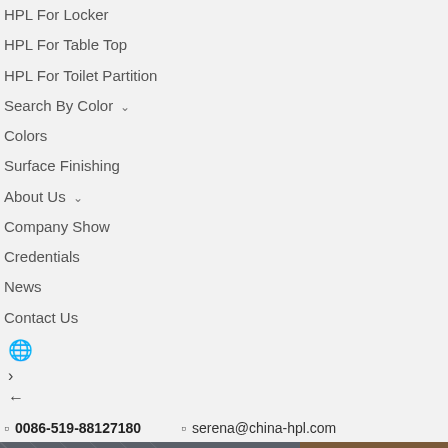HPL For Locker
HPL For Table Top
HPL For Toilet Partition
Search By Color ∨
Colors
Surface Finishing
About Us ∨
Company Show
Credentials
News
Contact Us
🌐 > ←
☎ 0086-519-88127180  ✉  serena@china-hpl.com
[Figure (photo): Building/architecture photo with overlay text: FOCUS ON THE REFRACTORY PANELS FOR 20 YEARS]